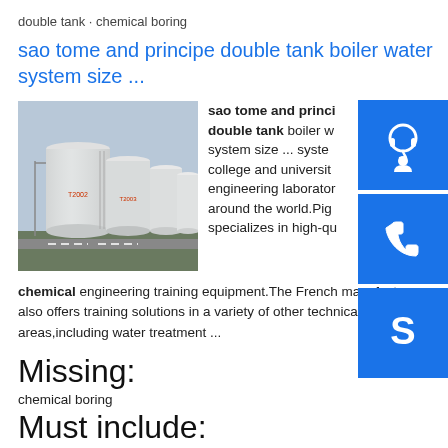double tank · chemical boring
sao tome and principe double tank boiler water system size ...
[Figure (photo): Row of large white cylindrical industrial storage tanks labeled T2002 and T2003, viewed from ground level with a road in the foreground.]
sao tome and principe double tank boiler water system size ... system college and university engineering laboratory around the world.Pig specializes in high-quality chemical engineering training equipment.The French manufacturer also offers training solutions in a variety of other technical areas,including water treatment ...
Missing:
chemical boring
Must include: